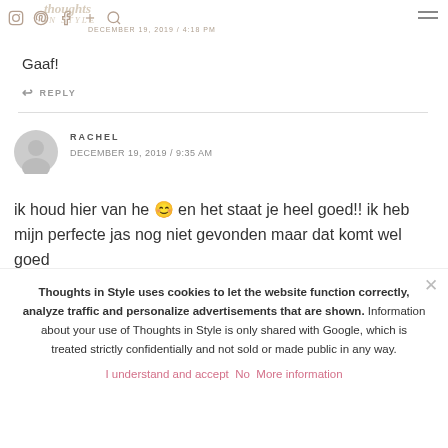DECEMBER 19, 2019 / [time]
Gaaf!
↩ REPLY
RACHEL
DECEMBER 19, 2019 / 9:35 AM
ik houd hier van he 😊 en het staat je heel goed!! ik heb mijn perfecte jas nog niet gevonden maar dat komt wel goed
Thoughts in Style uses cookies to let the website function correctly, analyze traffic and personalize advertisements that are shown. Information about your use of Thoughts in Style is only shared with Google, which is treated strictly confidentially and not sold or made public in any way.
I understand and accept   No   More information